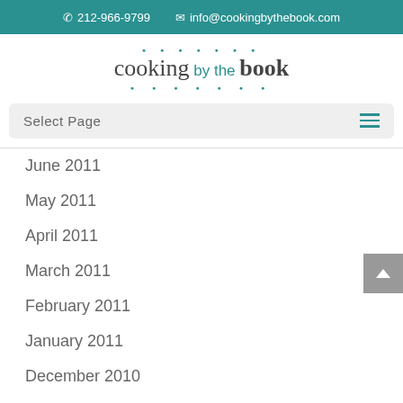📞 212-966-9799   ✉ info@cookingbythebook.com
[Figure (logo): Cooking by the Book logo with teal dots and stylized text]
Select Page
June 2011
May 2011
April 2011
March 2011
February 2011
January 2011
December 2010
November 2010